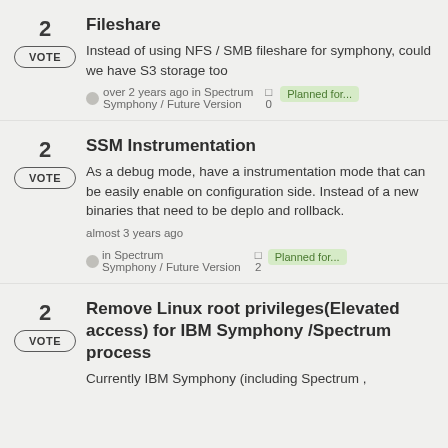2 | VOTE | Fileshare | Instead of using NFS / SMB fileshare for symphony, could we have S3 storage too | over 2 years ago in Spectrum Symphony / Future Version | 0 comments | Planned for...
2 | VOTE | SSM Instrumentation | As a debug mode, have a instrumentation mode that can be easily enable on configuration side. Instead of a new binaries that need to be deplo and rollback. | almost 3 years ago in Spectrum Symphony / Future Version | 2 comments | Planned for...
2 | VOTE | Remove Linux root privileges(Elevated access) for IBM Symphony /Spectrum process | Currently IBM Symphony (including Spectrum ,